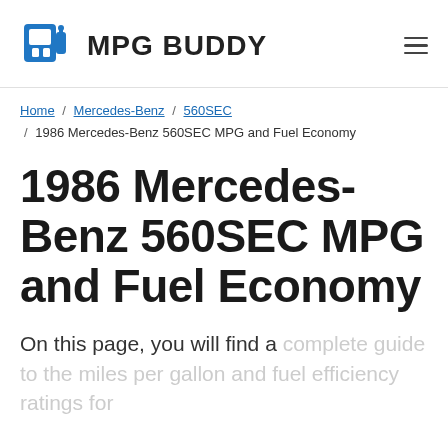MPG BUDDY
Home / Mercedes-Benz / 560SEC / 1986 Mercedes-Benz 560SEC MPG and Fuel Economy
1986 Mercedes-Benz 560SEC MPG and Fuel Economy
On this page, you will find a complete guide to the miles per gallon and fuel efficiency ratings for